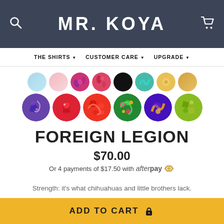MR. KOYA — Search, Cart, Navigation: THE SHIRTS, CUSTOMER CARE, UPGRADE
[Figure (illustration): Two rows of circular fabric pattern swatches showing various shirt designs]
FOREIGN LEGION
$70.00
Or 4 payments of $17.50 with afterpay
Strength: it's what chihuahuas and little brothers lack.
ADD TO CART 🔒